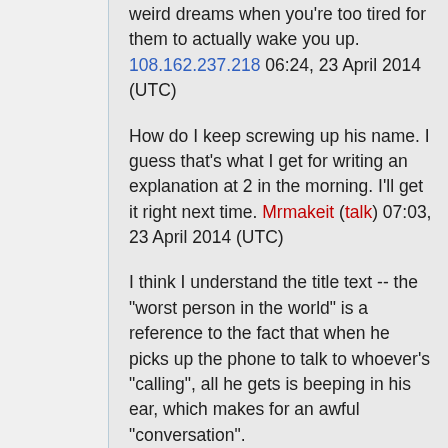weird dreams when you're too tired for them to actually wake you up. 108.162.237.218 06:24, 23 April 2014 (UTC)
How do I keep screwing up his name. I guess that's what I get for writing an explanation at 2 in the morning. I'll get it right next time. Mrmakeit (talk) 07:03, 23 April 2014 (UTC)
I think I understand the title text -- the "worst person in the world" is a reference to the fact that when he picks up the phone to talk to whoever's "calling", all he gets is beeping in his ear, which makes for an awful "conversation".
I red it as the caller being